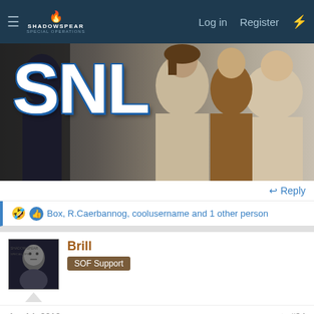ShadowSpear Special Operations — Log in | Register
[Figure (photo): SNL promotional banner image showing three people seated, with large 'SNL' text in white with blue outline on left side]
↩ Reply
Box, R.Caerbannog, coolusername and 1 other person
Brill
SOF Support
Apr 14, 2019  #34
This site uses cookies to help personalise content, tailor your experience and to keep you logged in if you register.
By continuing to use this site, you are consenting to our use of cookies.